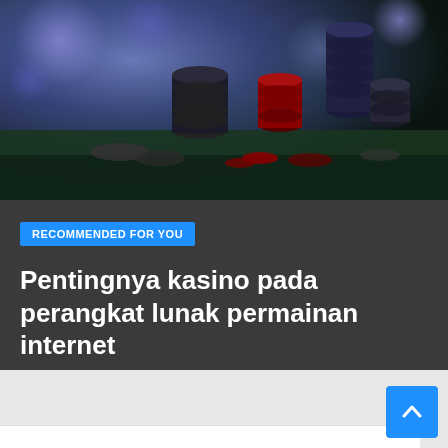[Figure (photo): Casino poker chips stacked on a dark green table surface with bokeh blue light background]
RECOMMENDED FOR YOU
Pentingnya kasino pada perangkat lunak permainan internet
YAROSLAV KYRYCHENKO
[Figure (other): Scroll-to-top button, blue square with upward chevron arrow]